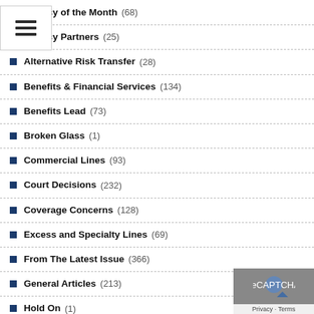Agency of the Month (68)
Agency Partners (25)
Alternative Risk Transfer (28)
Benefits & Financial Services (134)
Benefits Lead (73)
Broken Glass (1)
Commercial Lines (93)
Court Decisions (232)
Coverage Concerns (128)
Excess and Specialty Lines (69)
From The Latest Issue (366)
General Articles (213)
Hold On (1)
Hold On... (1)